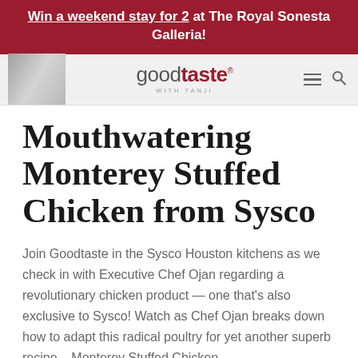Win a weekend stay for 2 at The Royal Sonesta Galleria!
[Figure (screenshot): Website navigation bar with a grayscale photo of a person smiling, the Goodtaste with Tanji logo in the center, and hamburger menu and search icons on the right.]
Mouthwatering Monterey Stuffed Chicken from Sysco
Join Goodtaste in the Sysco Houston kitchens as we check in with Executive Chef Ojan regarding a revolutionary chicken product — one that's also exclusive to Sysco! Watch as Chef Ojan breaks down how to adapt this radical poultry for yet another superb recipe... Monterey Stuffed Chicken.